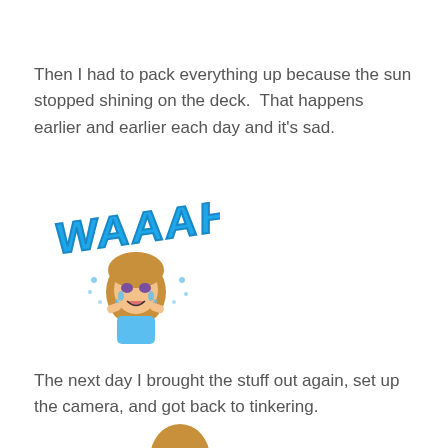Then I had to pack everything up because the sun stopped shining on the deck.  That happens earlier and earlier each day and it's sad.
[Figure (illustration): Bitmoji cartoon of a girl crying with 'WAAAH' text in large blue bubble letters above her, with tears and water drops around her face]
The next day I brought the stuff out again, set up the camera, and got back to tinkering.
[Figure (illustration): Partial bitmoji cartoon showing just the top of a girl's head with brown hair, cropped at bottom of page]